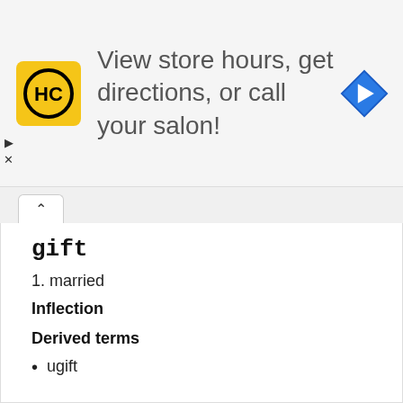[Figure (screenshot): Advertisement banner for Hair Club (HC) salon. Yellow square logo with HC initials in black circle, text reading 'View store hours, get directions, or call your salon!', and a blue diamond navigation arrow icon on the right. Small play and close controls on the left edge.]
gift
1. married
Inflection
Derived terms
• ugift